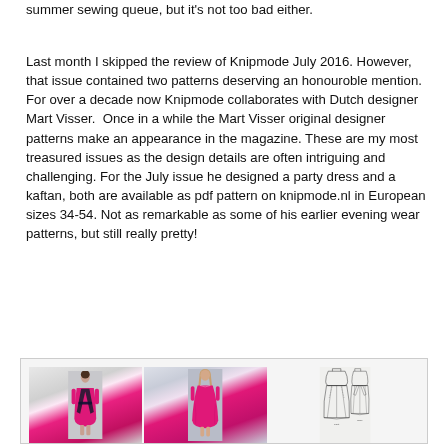summer sewing queue, but it's not too bad either.
Last month I skipped the review of Knipmode July 2016. However, that issue contained two patterns deserving an honouroble mention.  For over a decade now Knipmode collaborates with Dutch designer Mart Visser.  Once in a while the Mart Visser original designer patterns make an appearance in the magazine. These are my most treasured issues as the design details are often intriguing and challenging. For the July issue he designed a party dress and a kaftan, both are available as pdf pattern on knipmode.nl in European sizes 34-54. Not as remarkable as some of his earlier evening wear patterns, but still really pretty!
[Figure (photo): Photo collage showing two models wearing a pink/magenta party dress from Knipmode July 2016 by Mart Visser, alongside a line drawing sketch of the dress pattern showing front and back views.]